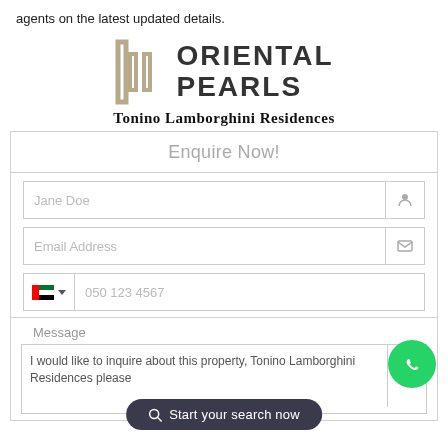agents on the latest updated details.
[Figure (logo): Oriental Pearls logo with geometric bracket icon and bold text 'ORIENTAL PEARLS']
Tonino Lamborghini Residences
Enquire Now!
[Figure (screenshot): Web enquiry form with fields: Jane Doe (name), Email Address, phone with UAE flag (050 123 4567), Message textarea with text 'I would like to inquire about this property, Tonino Lamborghini Residences please']
[Figure (other): Green WhatsApp floating button]
[Figure (other): Dark pill button: Start your search now]